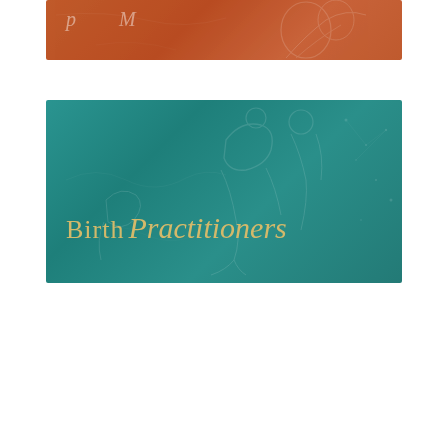[Figure (illustration): Top banner image with terracotta/rust orange background, faint line art of figures, and partially visible script/handwritten text in light color at top]
[Figure (illustration): Teal/dark cyan banner image with faint line art of two figures (birth practitioners), featuring gold/yellow text reading 'Birth Practitioners' in mixed serif and script fonts]